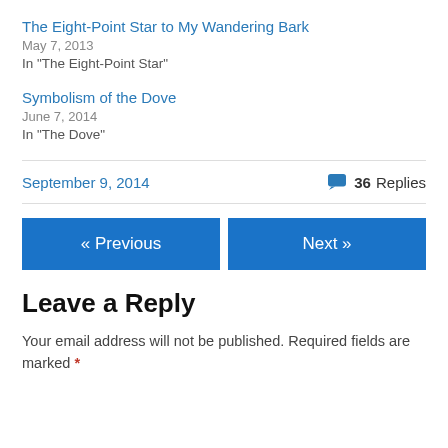The Eight-Point Star to My Wandering Bark
May 7, 2013
In "The Eight-Point Star"
Symbolism of the Dove
June 7, 2014
In "The Dove"
September 9, 2014
36 Replies
« Previous
Next »
Leave a Reply
Your email address will not be published. Required fields are marked *